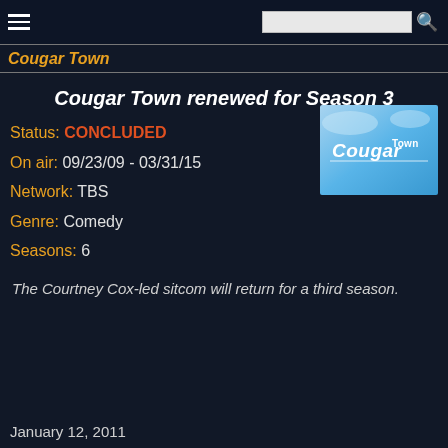Cougar Town
Cougar Town renewed for Season 3
Status: CONCLUDED
On air: 09/23/09 - 03/31/15
Network: TBS
Genre: Comedy
Seasons: 6
[Figure (logo): Cougar Town TV show logo on light blue background]
The Courtney Cox-led sitcom will return for a third season.
January 12, 2011